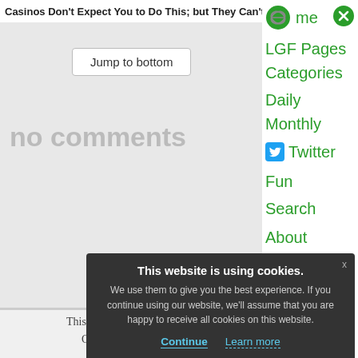Casinos Don't Expect You to Do This; but They Can't
Jump to bottom
no comments
Auto
This page has been archived. Comments are closed.
me
LGF Pages
Categories
Daily
Monthly
Twitter
Fun
Search
About
This website is using cookies. We use them to give you the best experience. If you continue using our website, we'll assume that you are happy to receive all cookies on this website.
Continue
Learn more